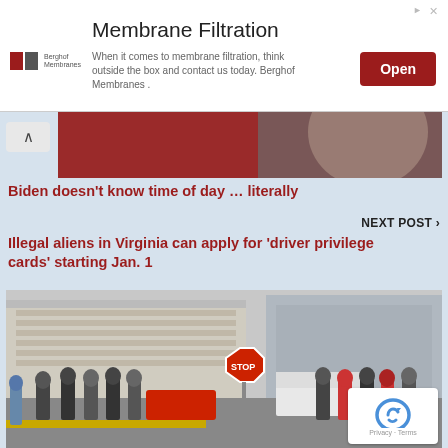[Figure (screenshot): Ad banner for Membrane Filtration by Berghof Membranes with Open button]
Membrane Filtration
When it comes to membrane filtration, think outside the box and contact us today. Berghof Membranes .
[Figure (photo): Partial photo of a person's face with red/blurred background]
Biden doesn't know time of day … literally
NEXT POST ›
Illegal aliens in Virginia can apply for 'driver privilege cards' starting Jan. 1
[Figure (photo): Outdoor scene showing a crowd of people standing near a stop sign in front of a large building, with a reCAPTCHA logo overlay]